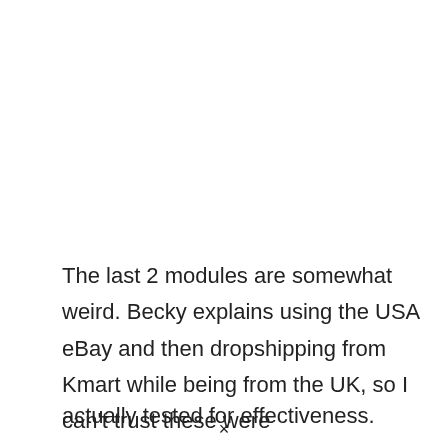The last 2 modules are somewhat weird. Becky explains using the USA eBay and then dropshipping from Kmart while being from the UK, so I can't trust these were actually tested for effectiveness.
×